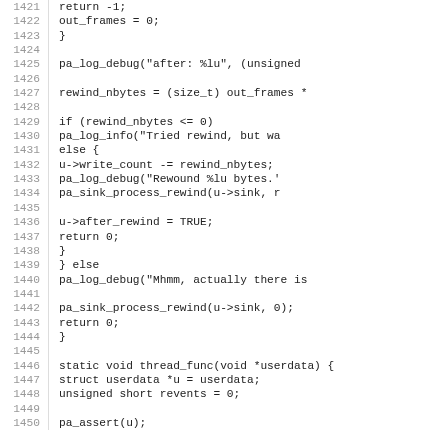Source code listing lines 1421-1450 showing C code with function pa_log_debug, rewind_nbytes, pa_log_info, u->write_count, pa_sink_process_rewind, u->after_rewind, thread_func, struct userdata, unsigned short revents, pa_assert